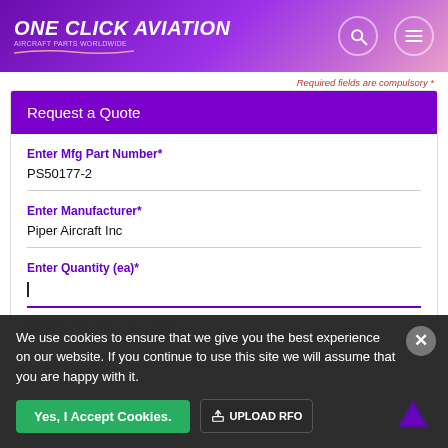[Figure (logo): One Click Aviation logo with white bold italic text on purple gradient header background, with search and menu icons]
Required fields are compulsory *
Request a Quote
Enter Mfg Part Number*
PS50177-2
Enter Manufacturer*
Piper Aircraft Inc
Enter Quantity (ea)*
Enter Target Price (ea) USD
We use cookies to ensure that we give you the best experience on our website. If you continue to use this site we will assume that you are happy with it.